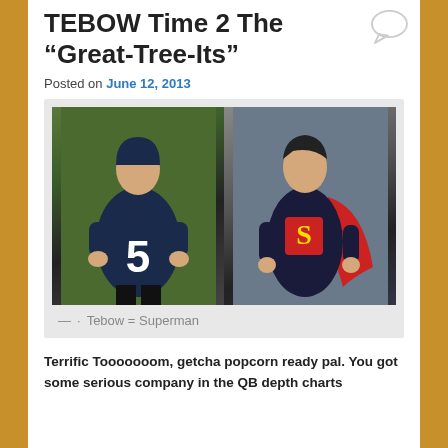TEBOW Time 2 The “Great-Tree-Its”
Posted on June 12, 2013
[Figure (photo): Side-by-side photos: left shows Tim Tebow in a New England Patriots #5 jersey standing on a football field; right shows an actor in a Superman costume with cape.]
Tebow = Superman
Terrific Tooooooom, getcha popcorn ready pal. You got some serious company in the QB depth charts